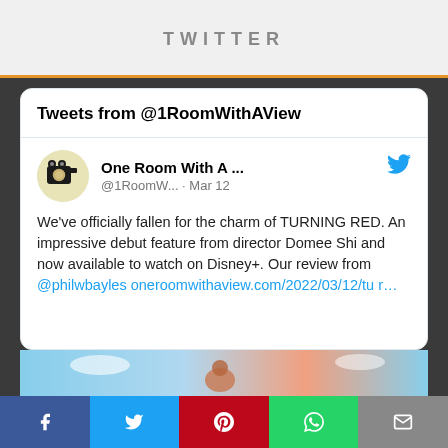TWITTER
Tweets from @1RoomWithAView
[Figure (screenshot): Tweet from One Room With A ... (@1RoomW...) on Mar 12 with camera movie reel avatar and Twitter bird icon. Tweet text: We've officially fallen for the charm of TURNING RED. An impressive debut feature from director Domee Shi and now available to watch on Disney+. Our review from @philwbayles oneroomwithaview.com/2022/03/12/tur…]
[Figure (photo): Partial image strip showing a scene from Turning Red with blue sky and characters]
[Figure (infographic): Social share bar with Facebook, Twitter, Pinterest, WhatsApp, and Email buttons]